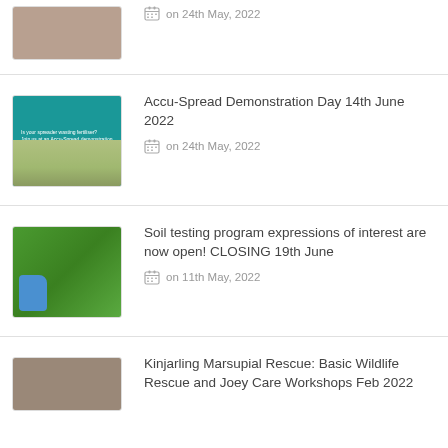[Figure (photo): Sepia-toned photo, partially visible at top]
on 24th May, 2022
[Figure (photo): Teal/green banner for Accu-Spread demonstration day with people and tractor]
Accu-Spread Demonstration Day 14th June 2022
on 24th May, 2022
[Figure (photo): Person in blue glove holding grass/plant sample against green grass background]
Soil testing program expressions of interest are now open! CLOSING 19th June
on 11th May, 2022
[Figure (photo): Sepia-toned photo, partially visible at bottom]
Kinjarling Marsupial Rescue: Basic Wildlife Rescue and Joey Care Workshops Feb 2022